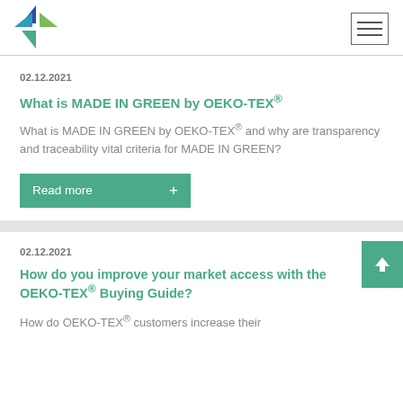[Figure (logo): OEKO-TEX windmill/pinwheel logo in blue, dark blue, green, and teal triangles]
02.12.2021
What is MADE IN GREEN by OEKO-TEX®
What is MADE IN GREEN by OEKO-TEX® and why are transparency and traceability vital criteria for MADE IN GREEN?
Read more +
02.12.2021
How do you improve your market access with the OEKO-TEX® Buying Guide?
How do OEKO-TEX® customers increase their